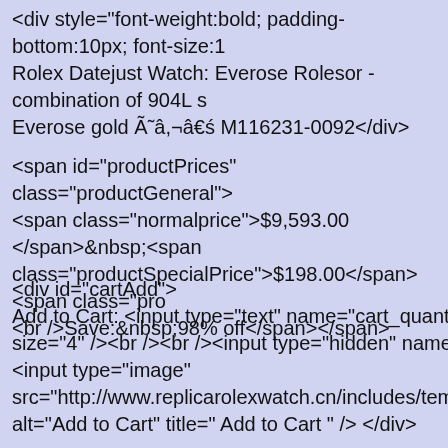<div style="font-weight:bold; padding-bottom:10px; font-size:1 Rolex Datejust Watch: Everose Rolesor - combination of 904L s Everose gold Ã˜â,¬â€ś M116231-0092</div>
<span id="productPrices" class="productGeneral"> <span class="normalprice">$9,593.00 </span>&nbsp;<span class="productSpecialPrice">$198.00</span><span class="pro <br />Save:&nbsp;98% off</span></span>
<div id="cartAdd"> Add to Cart: <input type="text" name="cart_quantity" value="1 size="4" /><br /><br /><input type="hidden" name="products_ <input type="image" src="http://www.replicarolexwatch.cn/includes/templates/polo/b alt="Add to Cart" title=" Add to Cart " /> </div>